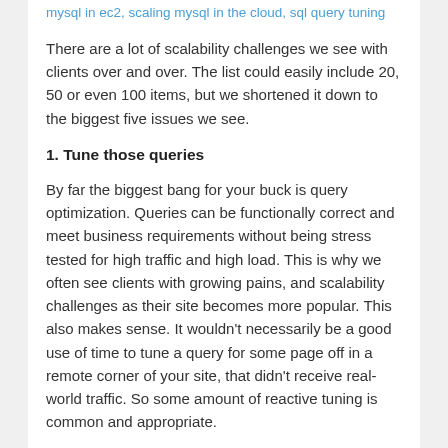mysql in ec2, scaling mysql in the cloud, sql query tuning
There are a lot of scalability challenges we see with clients over and over. The list could easily include 20, 50 or even 100 items, but we shortened it down to the biggest five issues we see.
1. Tune those queries
By far the biggest bang for your buck is query optimization. Queries can be functionally correct and meet business requirements without being stress tested for high traffic and high load. This is why we often see clients with growing pains, and scalability challenges as their site becomes more popular. This also makes sense. It wouldn't necessarily be a good use of time to tune a query for some page off in a remote corner of your site, that didn't receive real-world traffic. So some amount of reactive tuning is common and appropriate.
Enable the slow query log and watch it. Use ...